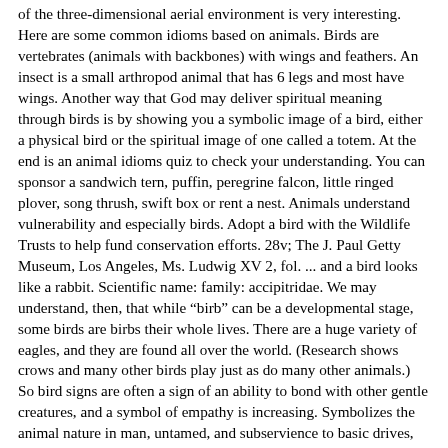of the three-dimensional aerial environment is very interesting. Here are some common idioms based on animals. Birds are vertebrates (animals with backbones) with wings and feathers. An insect is a small arthropod animal that has 6 legs and most have wings. Another way that God may deliver spiritual meaning through birds is by showing you a symbolic image of a bird, either a physical bird or the spiritual image of one called a totem. At the end is an animal idioms quiz to check your understanding. You can sponsor a sandwich tern, puffin, peregrine falcon, little ringed plover, song thrush, swift box or rent a nest. Animals understand vulnerability and especially birds. Adopt a bird with the Wildlife Trusts to help fund conservation efforts. 28v; The J. Paul Getty Museum, Los Angeles, Ms. Ludwig XV 2, fol. ... and a bird looks like a rabbit. Scientific name: family: accipitridae. We may understand, then, that while “birb” can be a developmental stage, some birds are birbs their whole lives. There are a huge variety of eagles, and they are found all over the world. (Research shows crows and many other birds play just as do many other animals.) So bird signs are often a sign of an ability to bond with other gentle creatures, and a symbol of empathy is increasing. Symbolizes the animal nature in man, untamed, and subservience to basic drives, their animal side.The Centaur in astrology is the ninth sign of the zodiac, shooting an arrow, a Fire sign. Bird definition is - the young of a feathered vertebrate. The five most well known classes of vertebrates (animals with backbones) are mammals, birds, fish